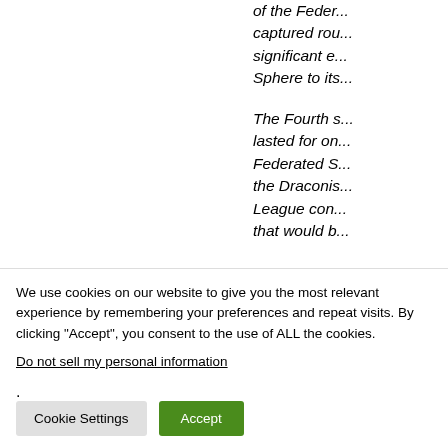of the Feder... captured rou... significant e... Sphere to its...
The Fourth s... lasted for on... Federated S... the Draconis... League con... that would b...
We use cookies on our website to give you the most relevant experience by remembering your preferences and repeat visits. By clicking “Accept”, you consent to the use of ALL the cookies.
Do not sell my personal information.